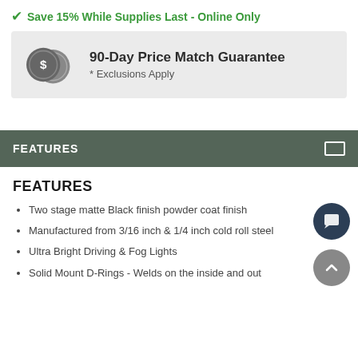✔ Save 15% While Supplies Last - Online Only
[Figure (infographic): 90-Day Price Match Guarantee banner with two dollar coin icons, text reads '90-Day Price Match Guarantee' and '* Exclusions Apply']
FEATURES
FEATURES
Two stage matte Black finish powder coat finish
Manufactured from 3/16 inch & 1/4 inch cold roll steel
Ultra Bright Driving & Fog Lights
Solid Mount D-Rings - Welds on the inside and out